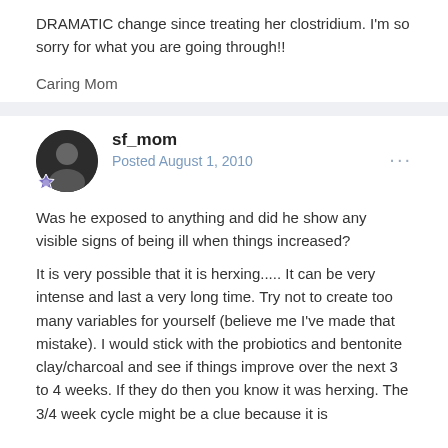DRAMATIC change since treating her clostridium. I'm so sorry for what you are going through!!
Caring Mom
sf_mom
Posted August 1, 2010
Was he exposed to anything and did he show any visible signs of being ill when things increased?
It is very possible that it is herxing..... It can be very intense and last a very long time. Try not to create too many variables for yourself (believe me I've made that mistake). I would stick with the probiotics and bentonite clay/charcoal and see if things improve over the next 3 to 4 weeks. If they do then you know it was herxing. The 3/4 week cycle might be a clue because it is